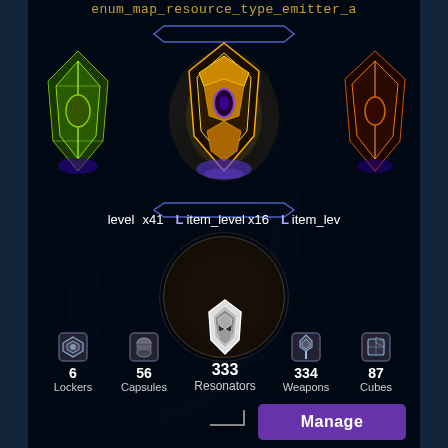enum_map_resource_type_emitter_a
[Figure (screenshot): Game UI carousel showing three resonator items. Left item is green/yellow truncated. Center item is gold/orange glowing resonator with hexagonal border highlight. Right item is orange/red partially visible. Below each item are labels: left shows 'level x41', center shows 'Litem_level x16', right shows 'Litem_lev...']
level  x41
Litem_level  x16
Litem_lev
6
Lockers
56
Capsules
333
Resonators
334
Weapons
87
Cubes
Manage